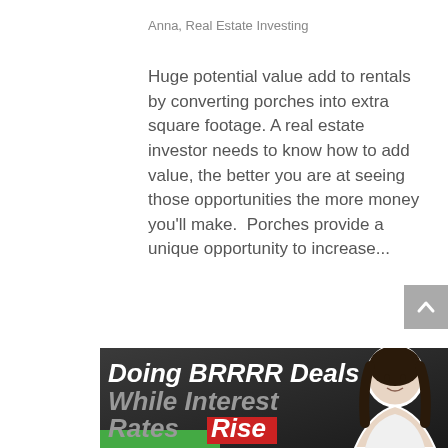Anna, Real Estate Investing
Huge potential value add to rentals by converting porches into extra square footage. A real estate investor needs to know how to add value, the better you are at seeing those opportunities the more money you'll make.  Porches provide a unique opportunity to increase...
[Figure (illustration): Banner image with dark background showing text 'Doing BRRRR Deals While Interest Rates Rise' with a woman's portrait photo on the right side and a green bar at the bottom.]